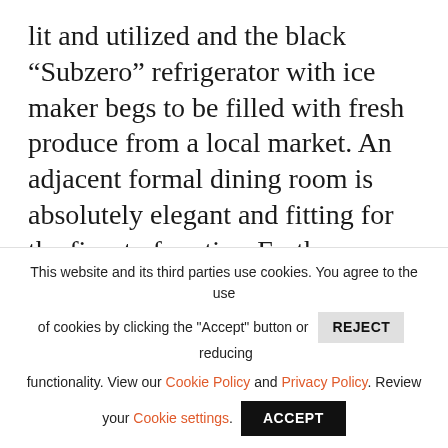lit and utilized and the black “Subzero” refrigerator with ice maker begs to be filled with fresh produce from a local market. An adjacent formal dining room is absolutely elegant and fitting for the finest of parties. Further on, across the entry foyer and down a few steps, is a cozy living room filled with overstuffed sofas and chairs. The focal point is a massive stone fireplace fit for a king — and several roasting pigs. In the corner sits a large armoire that a “trompe l’oeil” artist
This website and its third parties use cookies. You agree to the use of cookies by clicking the "Accept" button or REJECT reducing functionality. View our Cookie Policy and Privacy Policy. Review your Cookie settings. ACCEPT